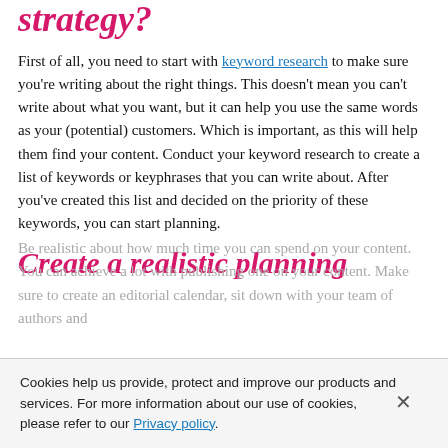strategy?
First of all, you need to start with keyword research to make sure you're writing about the right things. This doesn't mean you can't write about what you want, but it can help you use the same words as your (potential) customers. Which is important, as this will help them find your content. Conduct your keyword research to create a list of keywords or keyphrases that you can write about. After you've created this list and decided on the priority of these keywords, you can start planning.
Create a realistic planning
Be realistic about how much time you can spend on content. You can achieve a lot by publishing one piece of content every two weeks. Sitting down and...
Cookies help us provide, protect and improve our products and services. For more information about our use of cookies, please refer to our Privacy policy.